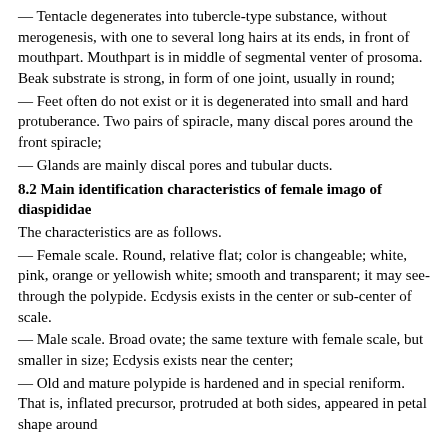— Tentacle degenerates into tubercle-type substance, without merogenesis, with one to several long hairs at its ends, in front of mouthpart. Mouthpart is in middle of segmental venter of prosoma. Beak substrate is strong, in form of one joint, usually in round;
— Feet often do not exist or it is degenerated into small and hard protuberance. Two pairs of spiracle, many discal pores around the front spiracle;
— Glands are mainly discal pores and tubular ducts.
8.2 Main identification characteristics of female imago of diaspididae
The characteristics are as follows.
— Female scale. Round, relative flat; color is changeable; white, pink, orange or yellowish white; smooth and transparent; it may see-through the polypide. Ecdysis exists in the center or sub-center of scale.
— Male scale. Broad ovate; the same texture with female scale, but smaller in size; Ecdysis exists near the center;
— Old and mature polypide is hardened and in special reniform. That is, inflated precursor, protruded at both sides, appeared in petal shape around